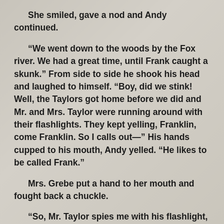She smiled, gave a nod and Andy continued.
“We went down to the woods by the Fox river. We had a great time, until Frank caught a skunk.” From side to side he shook his head and laughed to himself. “Boy, did we stink! Well, the Taylors got home before we did and Mr. and Mrs. Taylor were running around with their flashlights. They kept yelling, Franklin, come Franklin. So I calls out—” His hands cupped to his mouth, Andy yelled. “He likes to be called Frank.”
Mrs. Grebe put a hand to her mouth and fought back a chuckle.
“So, Mr. Taylor spies me with his flashlight, and starts for Frank and I at a run. Frank got spooked, bit at the flashlight and Mr. Taylor fell to the ground.”
Andy’s eyes widened. “Frank’s got Mr. Taylor pinned